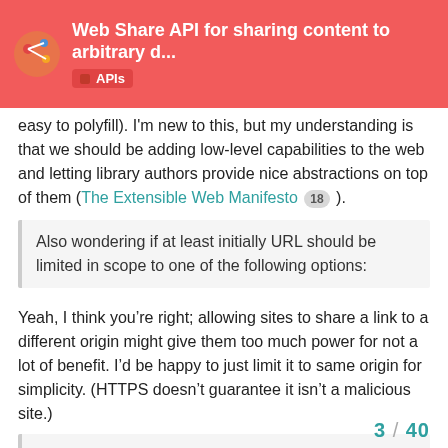Web Share API for sharing content to arbitrary d... | APIs
easy to polyfill). I'm new to this, but my understanding is that we should be adding low-level capabilities to the web and letting library authors provide nice abstractions on top of them (The Extensible Web Manifesto 18 ).
Also wondering if at least initially URL should be limited in scope to one of the following options:
Yeah, I think you’re right; allowing sites to share a link to a different origin might give them too much power for not a lot of benefit. I’d be happy to just limit it to same origin for simplicity. (HTTPS doesn’t guarantee it isn’t a malicious site.)
Consideration also needs to go into what is allowed to trigger a share action so that you can't navigate to a page that spams shares like when pages used to spam pop-ups or alerts.
3 / 40